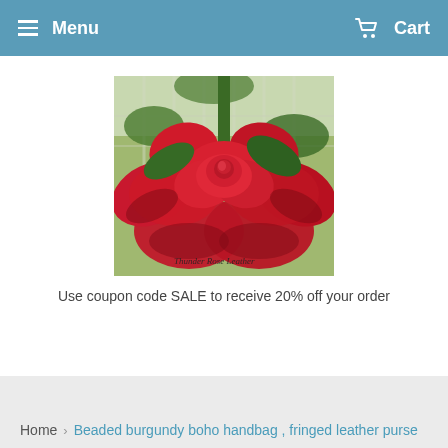Menu  Cart
[Figure (photo): Photo of a large red rose with green leaves and stems, watermarked 'Thunder Rose Leather' at the bottom]
Use coupon code SALE to receive 20% off your order
Home › Beaded burgundy boho handbag , fringed leather purse